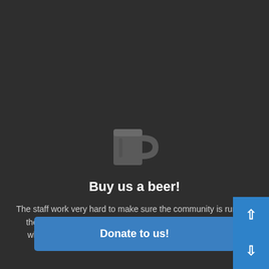[Figure (illustration): Beer mug / trophy icon in dark gray]
Buy us a beer!
The staff work very hard to make sure the community is running the best software, best designs, and all the other bells and whistles. Care to buy us a beer? We'd really appreciate it!
Donate to us!